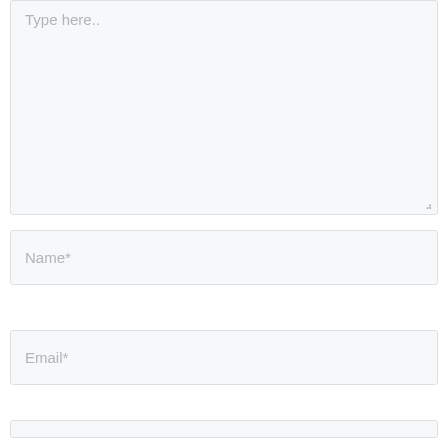[Figure (screenshot): A web form fragment showing a large textarea with placeholder text 'Type here..', followed by input fields for 'Name*', 'Email*', and a partially visible third field, all with light gray backgrounds and subtle borders.]
Type here..
Name*
Email*